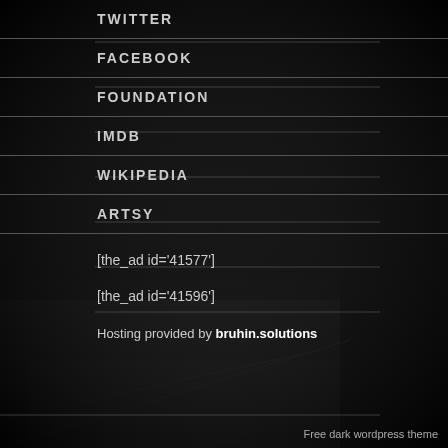TWITTER
FACEBOOK
FOUNDATION
IMDB
WIKIPEDIA
ARTSY
[the_ad id='41577']
[the_ad id='41596']
Hosting provided by bruhin.solutions
Free dark wordpress theme